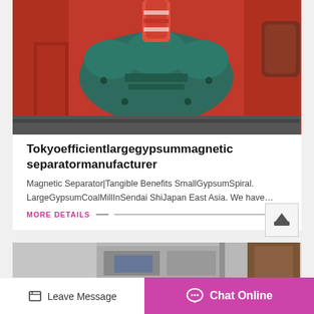[Figure (photo): Industrial machinery photo showing red and teal-green mechanical equipment, appears to be a magnetic separator component with bolted housing.]
Tokyoefficientlargegypsummagnetic separatormanufacturer
Magnetic Separator|Tangible Benefits SmallGypsumSpiral. LargeGypsumCoalMillInSendai ShiJapan East Asia. We have…
MORE DETAILS
[Figure (photo): Partial photo of industrial building or machinery exterior, grey concrete structure visible at bottom of page.]
Leave Message
Chat Online